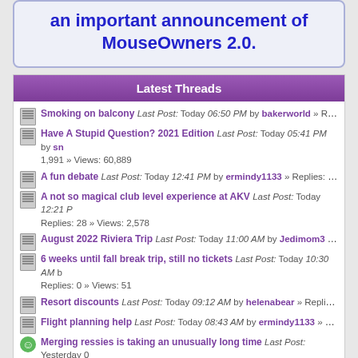an important announcement of MouseOwners 2.0.
Latest Threads
Smoking on balcony Last Post: Today 06:50 PM by bakerworld » Replies
Have A Stupid Question? 2021 Edition Last Post: Today 05:41 PM by sn... 1,991 » Views: 60,889
A fun debate Last Post: Today 12:41 PM by ermindy1133 » Replies: 20 »
A not so magical club level experience at AKV Last Post: Today 12:21 P Replies: 28 » Views: 2,578
August 2022 Riviera Trip Last Post: Today 11:00 AM by Jedimom3 » Rep
6 weeks until fall break trip, still no tickets Last Post: Today 10:30 AM b Replies: 0 » Views: 51
Resort discounts Last Post: Today 09:12 AM by helenabear » Replies: 6
Flight planning help Last Post: Today 08:43 AM by ermindy1133 » Replie
Merging ressies is taking an unusually long time Last Post: Yesterday 0 FessParker1 » Replies: 35 » Views: 1,088
Review of resort studio Last Post: Yesterday 06:16 PM by chrisvee » Rep 2,621
Galactic Star Cruiser Now Booking For 2023 Last Post: Yesterday 06:12 Replies: 0 » Views: 58
Marriott Last Post: 08.25.2022 10:14 PM by hrp » Replies: 3 » Views: 20